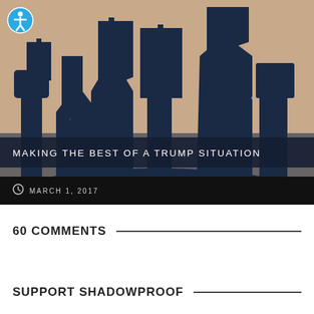[Figure (photo): Protest silhouettes against a warm reddish-pink background, showing dark shadows of people holding signs and flags]
MAKING THE BEST OF A TRUMP SITUATION
MARCH 1, 2017
60 COMMENTS
SUPPORT SHADOWPROOF